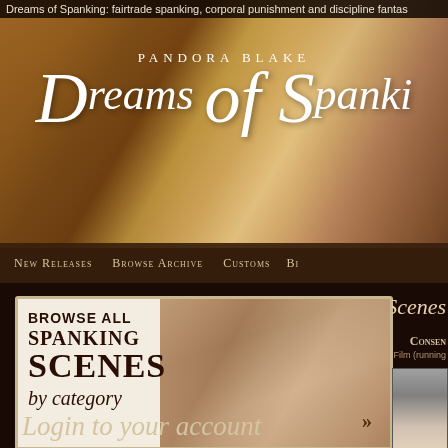Dreams of Spanking: fairtrade spanking, corporal punishment and discipline fantas
[Figure (photo): Hero banner image showing 'Pandora Blake Dreams of Spanking' website logo over a background photo with wooden floor tones]
[Figure (screenshot): Navigation bar with items: New Releases, Browse Archive, Customs, Bi...]
[Figure (photo): Browse all spanking scenes by category promotional box with photo background]
[Figure (photo): Right panel showing partial text 'Scenes' and 'Consen...' with Film running time info and partial photo of person]
Login to your account